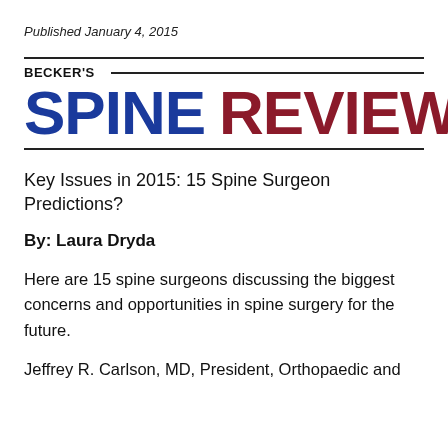Published January 4, 2015
BECKER'S SPINE REVIEW
Key Issues in 2015: 15 Spine Surgeon Predictions?
By: Laura Dryda
Here are 15 spine surgeons discussing the biggest concerns and opportunities in spine surgery for the future.
Jeffrey R. Carlson, MD, President, Orthopaedic and